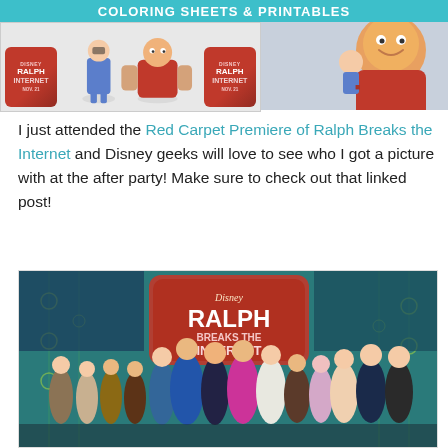[Figure (illustration): Ralph Breaks the Internet coloring sheets and printables banner with animated characters and Ralph Breaks the Internet movie logo badges]
I just attended the Red Carpet Premiere of Ralph Breaks the Internet and Disney geeks will love to see who I got a picture with at the after party! Make sure to check out that linked post!
[Figure (photo): Group photo at the Ralph Breaks the Internet Red Carpet Premiere, showing a large group of people posing in front of a Disney Ralph Breaks the Internet backdrop/sign]